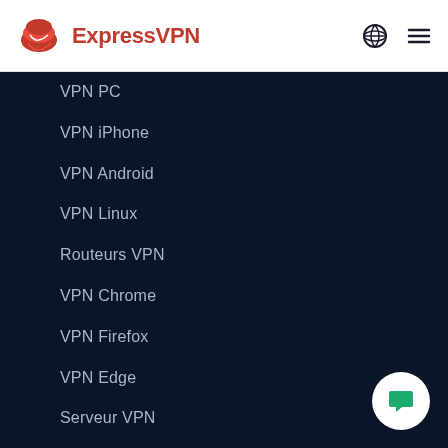ExpressVPN
VPN PC
VPN iPhone
VPN Android
VPN Linux
Routeurs VPN
VPN Chrome
VPN Firefox
VPN Edge
Serveur VPN
Protocole VPN Lightway
Abonnement VPN